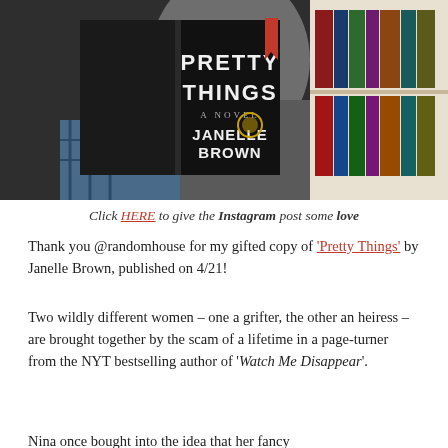[Figure (photo): Person holding open a book titled 'Pretty Things – A Novel' by Janelle Brown, with a bookshelf visible in the background.]
Click HERE to give the Instagram post some love
Thank you @randomhouse for my gifted copy of 'Pretty Things' by Janelle Brown, published on 4/21!
Two wildly different women – one a grifter, the other an heiress – are brought together by the scam of a lifetime in a page-turner from the NYT bestselling author of 'Watch Me Disappear'.
Nina once bought into the idea that her fancy